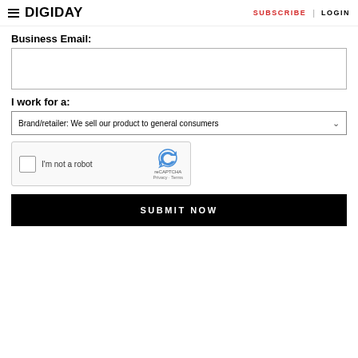DIGIDAY | SUBSCRIBE | LOGIN
Business Email:
[text input field]
I work for a:
Brand/retailer: We sell our product to general consumers
[Figure (other): reCAPTCHA widget with checkbox labeled 'I'm not a robot']
SUBMIT NOW